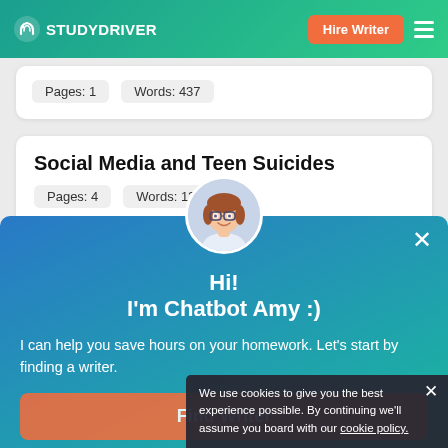STUDYDRIVER | Hire Writer
Pages: 1   Words: 437
Social Media and Teen Suicides
Pages: 4   Words: 1230
[Figure (illustration): Chatbot avatar: illustrated woman with brown hair, glasses, smiling, wearing white top]
Hi!
I'm Chatbot Amy :)
I can help you save hours on your homework. Let's start by finding a writer.
Find Writer
A professional writer will make a clear, mistake-free paper for you!
We use cookies to give you the best experience possible. By continuing we'll assume you board with our cookie policy.